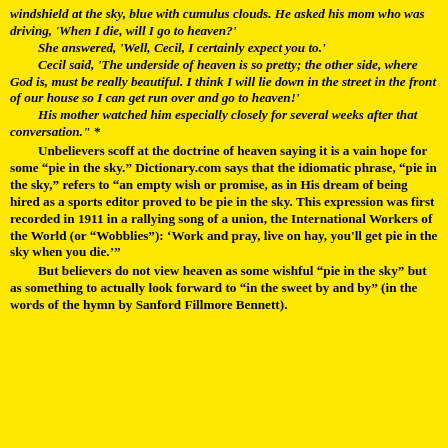windshield at the sky, blue with cumulus clouds.  He asked his mom who was driving, 'When I die, will I go to heaven?'
    She answered, 'Well, Cecil, I certainly expect you to.'
    Cecil said, 'The underside of heaven is so pretty; the other side, where God is, must be really beautiful.  I think I will lie down in the street in the front of our house so I can get run over and go to heaven!'
    His mother watched him especially closely for several weeks after that conversation." *
    Unbelievers scoff at the doctrine of heaven saying it is a vain hope for some “pie in the sky.”  Dictionary.com says that the idiomatic phrase, “pie in the sky,” refers to “an empty wish or promise, as in His dream of being hired as a sports editor proved to be pie in the sky.  This expression was first recorded in 1911 in a rallying song of a union, the International Workers of the World (or “Wobblies”): ‘Work and pray, live on hay, you'll get pie in the sky when you die.’”
    But believers do not view heaven as some wishful “pie in the sky” but as something to actually look forward to “in the sweet by and by” (in the words of the hymn by Sanford Fillmore Bennett).